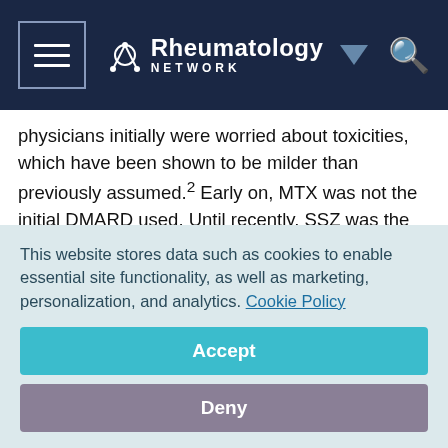Rheumatology Network
physicians initially were worried about toxicities, which have been shown to be milder than previously assumed.2 Early on, MTX was not the initial DMARD used. Until recently, SSZ was the most frequently used DMARD in Europe.3
A new and different paradigm evolved during the early to mid 1990s. The Tight Control for Rheumatoid Arthritis (TICORA) study demonstrated that with tight control of disease activity, high degrees of remission could
This website stores data such as cookies to enable essential site functionality, as well as marketing, personalization, and analytics. Cookie Policy
Accept
Deny